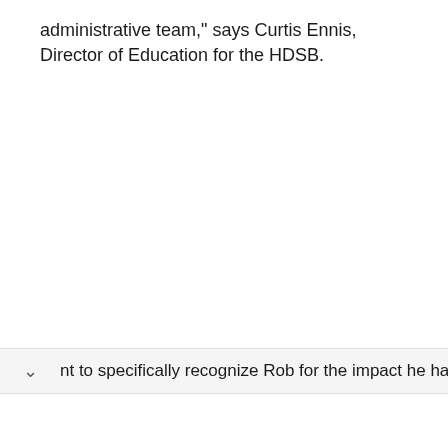administrative team," says Curtis Ennis, Director of Education for the HDSB.
nt to specifically recognize Rob for the impact he has